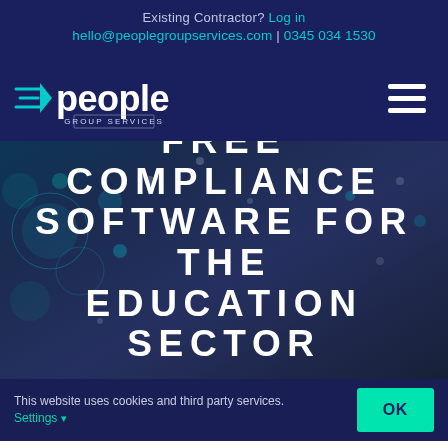Existing Contractor? Log in
hello@peoplegroupservices.com | 0345 034 1530
[Figure (logo): People Group Services logo — stylized 'people' wordmark in white with speed-lines motif and 'GROUP SERVICES' subtitle]
FREE COMPLIANCE SOFTWARE FOR THE EDUCATION SECTOR
This website uses cookies and third party services. Settings